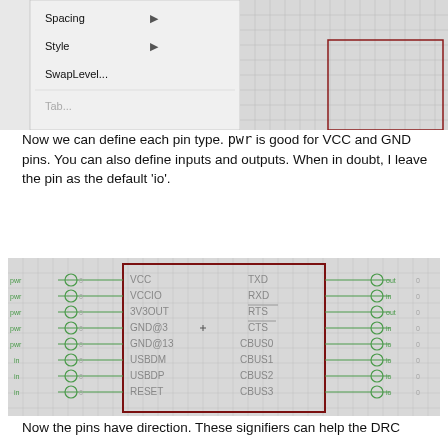[Figure (screenshot): Screenshot of a context menu showing options: Spacing (with arrow), Style (with arrow), SwapLevel..., Tab... Partially visible. To the right is a KiCad schematic editor canvas area with a red rectangle outline visible.]
Now we can define each pin type. pwr is good for VCC and GND pins. You can also define inputs and outputs. When in doubt, I leave the pin as the default 'io'.
[Figure (schematic): KiCad schematic symbol showing an IC package with pins labeled: left side (pwr) VCC, VCCIO, 3V3OUT, GND@3, GND@13, (in) USBDM, USBDP, RESET; right side (out) TXD, (in) RXD, (out) RTS, (in) CTS, (io) CBUS0, CBUS1, CBUS2, CBUS3. Pin circles shown in green on left and right. Component outline in dark red/maroon.]
Now the pins have direction. These signifiers can help the DRC (design rule check) that is triggered during a netlist generation.